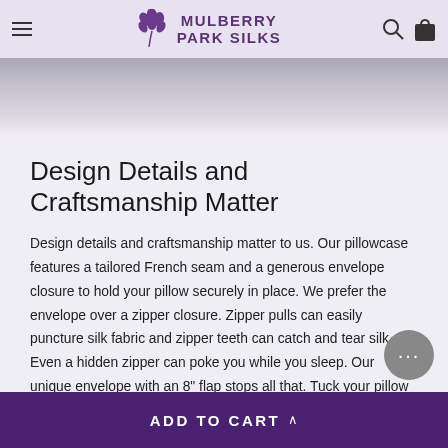Mulberry Park Silks
[Figure (photo): Close-up photo of silk pillowcase fabric in greyscale tones]
Design Details and Craftsmanship Matter
Design details and craftsmanship matter to us. Our pillowcase features a tailored French seam and a generous envelope closure to hold your pillow securely in place. We prefer the envelope over a zipper closure. Zipper pulls can easily puncture silk fabric and zipper teeth can catch and tear silk. Even a hidden zipper can poke you while you sleep. Our unique envelope with an 8" flap stops all that. Tuck your pillow tightly in for a finished look and